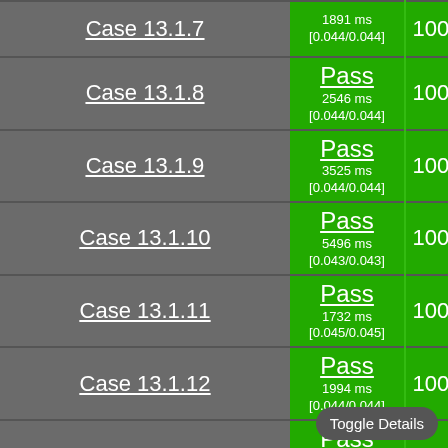| Case | Result | Count |
| --- | --- | --- |
| Case 13.1.7 | Pass
1891 ms
[0.044/0.044] | 1000 |
| Case 13.1.8 | Pass
2546 ms
[0.044/0.044] | 1000 |
| Case 13.1.9 | Pass
3525 ms
[0.044/0.044] | 1000 |
| Case 13.1.10 | Pass
5496 ms
[0.043/0.043] | 1000 |
| Case 13.1.11 | Pass
1732 ms
[0.045/0.045] | 1000 |
| Case 13.1.12 | Pass
1994 ms
[0.044/0.044] | 1000 |
| Case 13.1.13 | Pass
2663 ms
[0.044/0.044] | 1000 |
| Case 13.1.14 | Pass
3817 ms
[0.044/...] | 1000 |